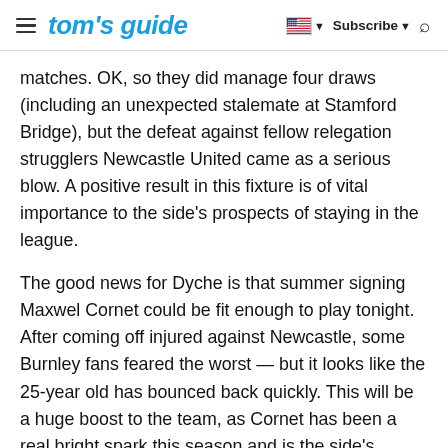tom's guide | Subscribe | Search
matches. OK, so they did manage four draws (including an unexpected stalemate at Stamford Bridge), but the defeat against fellow relegation strugglers Newcastle United came as a serious blow. A positive result in this fixture is of vital importance to the side's prospects of staying in the league.
The good news for Dyche is that summer signing Maxwel Cornet could be fit enough to play tonight. After coming off injured against Newcastle, some Burnley fans feared the worst — but it looks like the 25-year old has bounced back quickly. This will be a huge boost to the team, as Cornet has been a real bright spark this season and is the side's current top scorer with five goals.
After a remarkable 4-1 win over Manchester United